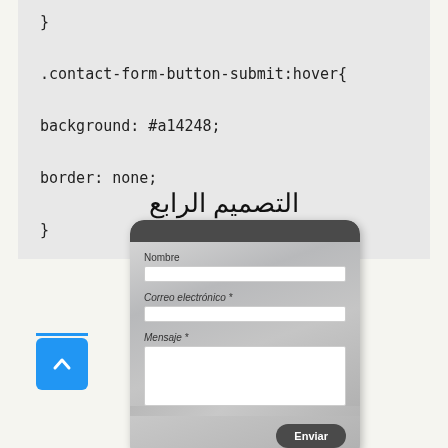}

.contact-form-button-submit:hover{

background: #a14248;

border: none;

}
التصميم الرابع
[Figure (screenshot): A contact form UI preview with a dark header bar, brushed metal background, fields for Nombre, Correo electrónico *, Mensaje *, and a dark Enviar button]
[Figure (other): A blue back-to-top button with an upward chevron arrow, with a blue horizontal line above it]